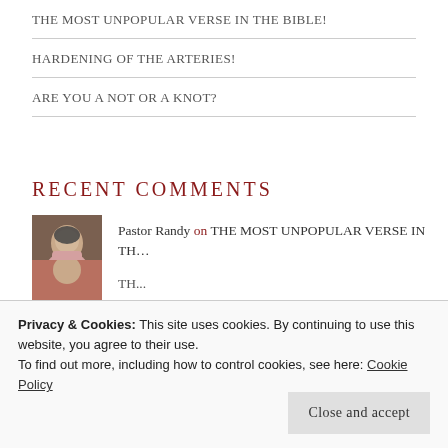THE MOST UNPOPULAR VERSE IN THE BIBLE!
HARDENING OF THE ARTERIES!
ARE YOU A NOT OR A KNOT?
RECENT COMMENTS
Pastor Randy on THE MOST UNPOPULAR VERSE IN TH...
YOU CAN LEAD A HORSE... on YOU CAN LEAD A HORSE TO WATER,...
Stephen on THE MOST UNPOPULAR VERSE IN TH...
Privacy & Cookies: This site uses cookies. By continuing to use this website, you agree to their use.
To find out more, including how to control cookies, see here: Cookie Policy
Close and accept
TH...